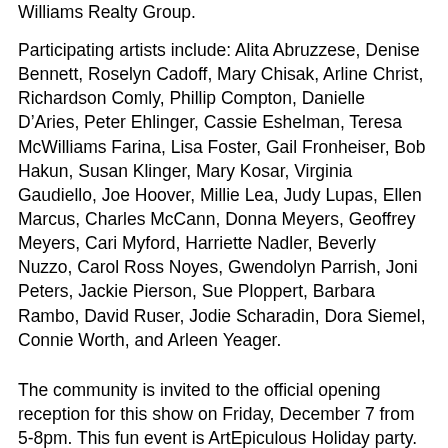Williams Realty Group.
Participating artists include: Alita Abruzzese, Denise Bennett, Roselyn Cadoff, Mary Chisak, Arline Christ, Richardson Comly, Phillip Compton, Danielle D’Aries, Peter Ehlinger, Cassie Eshelman, Teresa McWilliams Farina, Lisa Foster, Gail Fronheiser, Bob Hakun, Susan Klinger, Mary Kosar, Virginia Gaudiello, Joe Hoover, Millie Lea, Judy Lupas, Ellen Marcus, Charles McCann, Donna Meyers, Geoffrey Meyers, Cari Myford, Harriette Nadler, Beverly Nuzzo, Carol Ross Noyes, Gwendolyn Parrish, Joni Peters, Jackie Pierson, Sue Ploppert, Barbara Rambo, David Ruser, Jodie Scharadin, Dora Siemel, Connie Worth, and Arleen Yeager.
The community is invited to the official opening reception for this show on Friday, December 7 from 5-8pm. This fun event is ArtEpiculous Holiday party. Refreshments...